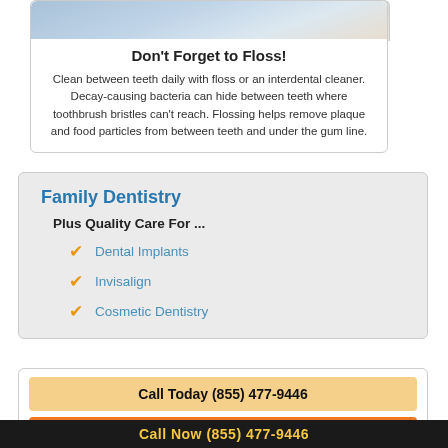Don't Forget to Floss!
Clean between teeth daily with floss or an interdental cleaner. Decay-causing bacteria can hide between teeth where toothbrush bristles can't reach. Flossing helps remove plaque and food particles from between teeth and under the gum line.
Family Dentistry
Plus Quality Care For ...
Dental Implants
Invisalign
Cosmetic Dentistry
Call Today (855) 477-9446
Make an Appointment
Call Now (855) 477-9446